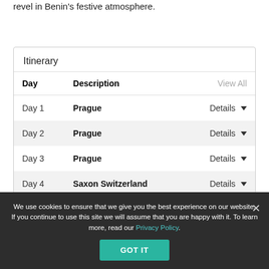revel in Benin's festive atmosphere.
Itinerary
| Day | Description | View All |
| --- | --- | --- |
| Day 1 | Prague | Details ▾ |
| Day 2 | Prague | Details ▾ |
| Day 3 | Prague | Details ▾ |
| Day 4 | Saxon Switzerland | Details ▾ |
We use cookies to ensure that we give you the best experience on our website. If you continue to use this site we will assume that you are happy with it. To learn more, read our Privacy Policy.
GOT IT